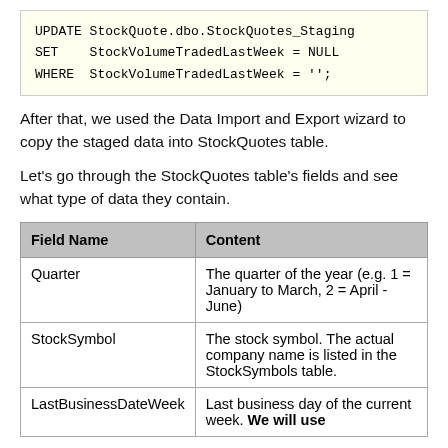UPDATE StockQuote.dbo.StockQuotes_Staging
SET    StockVolumeTradedLastWeek = NULL
WHERE  StockVolumeTradedLastWeek = '';
After that, we used the Data Import and Export wizard to copy the staged data into StockQuotes table.
Let's go through the StockQuotes table's fields and see what type of data they contain.
| Field Name | Content |
| --- | --- |
| Quarter | The quarter of the year (e.g. 1 = January to March, 2 = April - June) |
| StockSymbol | The stock symbol. The actual company name is listed in the StockSymbols table. |
| LastBusinessDateWeek | Last business day of the current week. We will use |